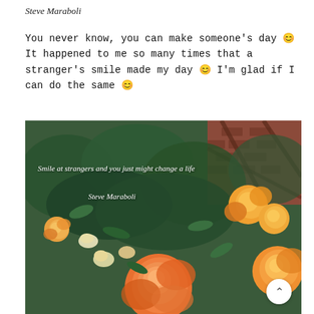Steve Maraboli
You never know, you can make someone's day 😊 It happened to me so many times that a stranger's smile made my day 😊 I'm glad if I can do the same 😊
[Figure (photo): Photo of orange and yellow roses in a garden with green foliage and brick wall background. Text overlay reads: 'Smile at strangers and you just might change a life' and 'Steve Maraboli'. A scroll-to-top button is visible in the bottom right corner.]